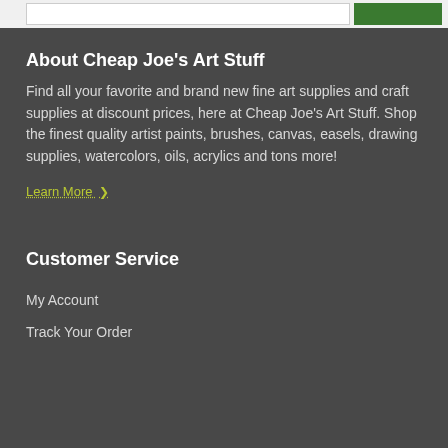About Cheap Joe's Art Stuff
Find all your favorite and brand new fine art supplies and craft supplies at discount prices, here at Cheap Joe's Art Stuff. Shop the finest quality artist paints, brushes, canvas, easels, drawing supplies, watercolors, oils, acrylics and tons more!
Learn More >
Customer Service
My Account
Track Your Order